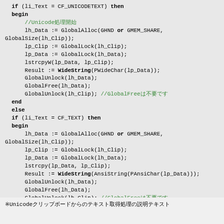[Figure (screenshot): Code block showing Pascal/Delphi source code with clipboard Unicode and ANSI text handling, including GlobalAlloc, GlobalLock, lstrcpyW, WideString, GlobalUnlock, GlobalFree, GlobalUnlock calls, with Japanese comments in green.]
※Unicodeクリップボードからのテキスト取得処理の説明テキスト